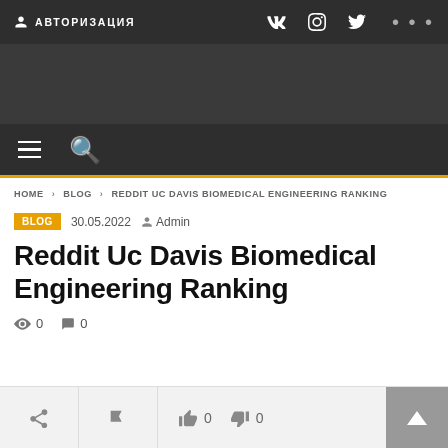АВТОРИЗАЦИЯ — social icons navigation bar
[Figure (screenshot): Dark banner advertisement area]
Hamburger menu and search icon menu bar
HOME > BLOG > REDDIT UC DAVIS BIOMEDICAL ENGINEERING RANKING
BLOG  30.05.2022  Admin
Reddit Uc Davis Biomedical Engineering Ranking
0 views  0 comments
Share  Flag  Thumbs up 0  Thumbs down 0